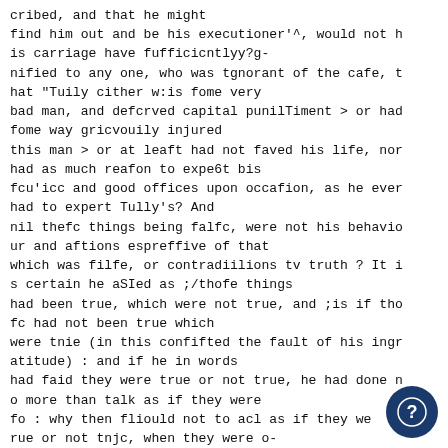cribed, and that he might find him out and be his executioner'^, would not his carriage have fufficicntlyy?g-nified to any one, who was tgnorant of the cafe, that "Tuily cither w:is fome very bad man, and defcrved capital punilTiment > or had fome way gricvouily injured this man > or at leaft had not faved his life, nor had as much reafon to expe6t bis fcu'icc and good offices upon occafion, as he ever had to expert Tully's? And nil thefc things being falfc, were not his behaviour and aftions espreffive of that which was filfe, or contradiilions tv truth ? It is certain he aSIed as ;/thofe things had been true, which were not true, and ;is if thofc had not been true which were tnie (in this confifted the fault of his ingratitude) : and if he in words had faid they were true or not true, he had done no more than talk as if they were fo : why then fliould not to acl as if they were rue or not tnjc, when they were o-therwifc, contradift truth as much as to fay they